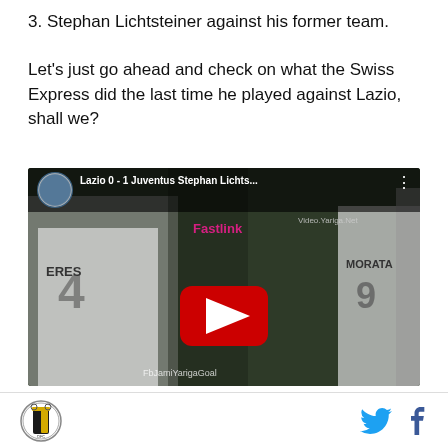3. Stephan Lichtsteiner against his former team.
Let's just go ahead and check on what the Swiss Express did the last time he played against Lazio, shall we?
[Figure (screenshot): YouTube video thumbnail showing Lazio 0 - 1 Juventus Stephan Lichts... with players in Juventus white jerseys including MORATA number 9 and ERES, with a red YouTube play button overlay. Watermarks: Fastlink, Video.Yariga.Net, FbJamiYarigaGoal]
Juventus logo icon | Twitter icon | Facebook icon